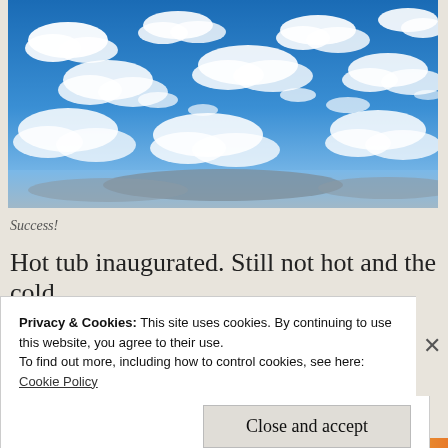[Figure (photo): Blue sky with scattered white clouds, photographed from below looking upward]
Success!
Hot tub inaugurated. Still not hot and the cold
Privacy & Cookies: This site uses cookies. By continuing to use this website, you agree to their use.
To find out more, including how to control cookies, see here:
Cookie Policy
Close and accept